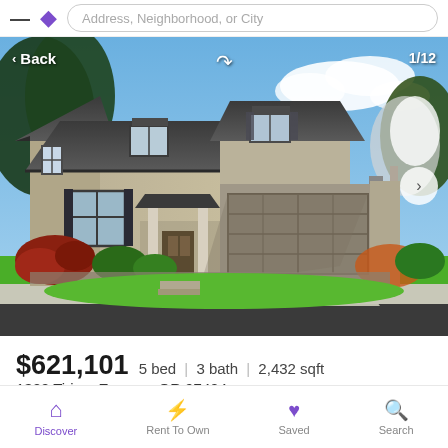Address, Neighborhood, or City
[Figure (photo): Two-story craftsman-style house with beige/tan siding, dark roof, two-car garage, front porch, landscaped yard with green lawn and flowering plants. Photo 1 of 12.]
$621,101  5 bed  |  3 bath  |  2,432 sqft
1322 Tirion, Eugene, OR 97404
• Home Pending Sale | On ZeroDown for 5 months
Discover  Rent To Own  Saved  Search